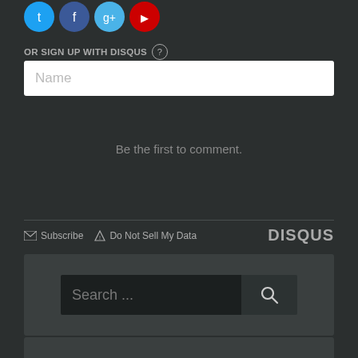[Figure (illustration): Social media login icons: Twitter (blue), Facebook (dark blue), Google+ (light blue), YouTube (red) as circular buttons]
OR SIGN UP WITH DISQUS ?
[Figure (screenshot): Name input text field with placeholder text 'Name']
Be the first to comment.
Subscribe  Do Not Sell My Data  DISQUS
[Figure (screenshot): Search widget with dark background containing a search input field with placeholder 'Search ...' and a search button with magnifying glass icon]
[Figure (screenshot): Partial view of a recent posts/items widget box at the bottom of the page]